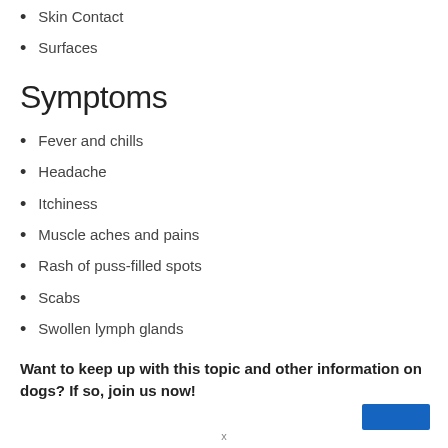Skin Contact
Surfaces
Symptoms
Fever and chills
Headache
Itchiness
Muscle aches and pains
Rash of puss-filled spots
Scabs
Swollen lymph glands
Want to keep up with this topic and other information on dogs? If so, join us now!